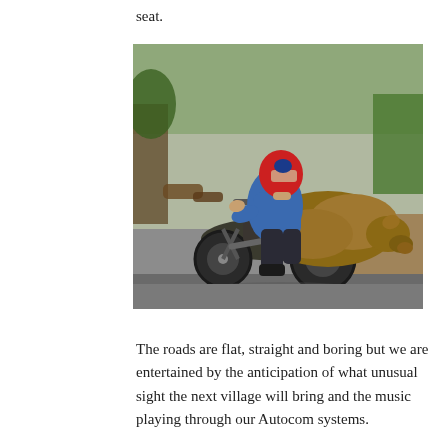seat.
[Figure (photo): A person wearing a red helmet and blue jacket rides a motorcycle on a rural road, with large animals (pigs or similar livestock) loaded across the rear of the motorcycle.]
The roads are flat, straight and boring but we are entertained by the anticipation of what unusual sight the next village will bring and the music playing through our Autocom systems.